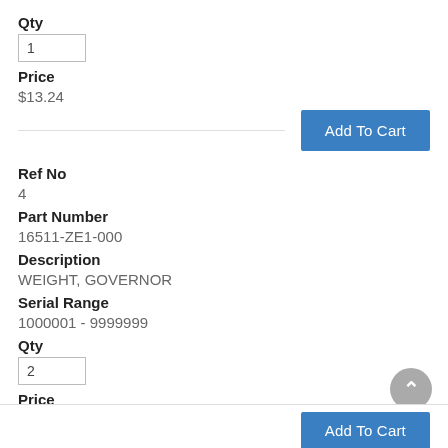Qty
1
Price
$13.24
Add To Cart
Ref No
4
Part Number
16511-ZE1-000
Description
WEIGHT, GOVERNOR
Serial Range
1000001 - 9999999
Qty
2
Price
$3.10
Add To Cart